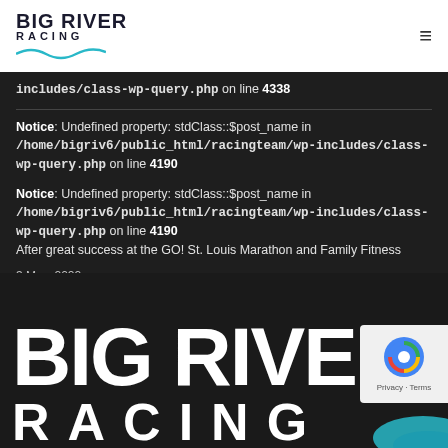BIG RIVER RACING
includes/class-wp-query.php on line 4338
Notice: Undefined property: stdClass::$post_name in /home/bigriv6/public_html/racingteam/wp-includes/class-wp-query.php on line 4190
Notice: Undefined property: stdClass::$post_name in /home/bigriv6/public_html/racingteam/wp-includes/class-wp-query.php on line 4190 After great success at the GO! St. Louis Marathon and Family Fitness
3 May, 2022
[Figure (logo): Big River Racing large logo with BIG RIVER and RACING text in white on dark background with teal wave graphic]